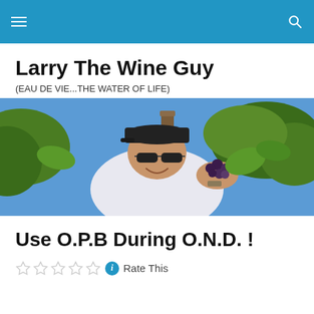Larry The Wine Guy — site navigation header bar
Larry The Wine Guy
(EAU DE VIE...THE WATER OF LIFE)
[Figure (photo): Man in a black baseball cap and sunglasses smiling and holding dark grapes in a vineyard with green foliage and blue sky in the background.]
Use O.P.B During O.N.D. !
Rate This